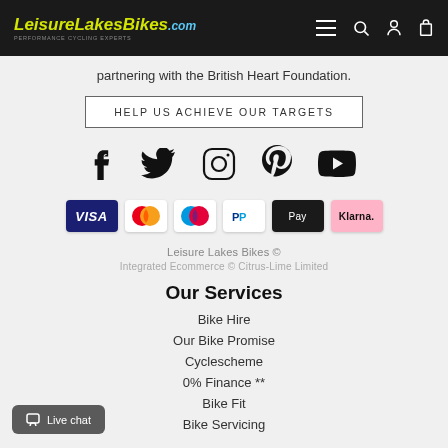LeisureLakesBikes.com
partnering with the British Heart Foundation.
HELP US ACHIEVE OUR TARGETS
[Figure (infographic): Social media icons: Facebook, Twitter, Instagram, Pinterest, YouTube]
[Figure (infographic): Payment method icons: Visa, Mastercard, Maestro, PayPal, Apple Pay, Klarna]
Leisure Lakes Bikes ©
Integrated Ecommerce © Citrus-Lime Limited
Our Services
Bike Hire
Our Bike Promise
Cyclescheme
0% Finance **
Bike Fit
Bike Servicing